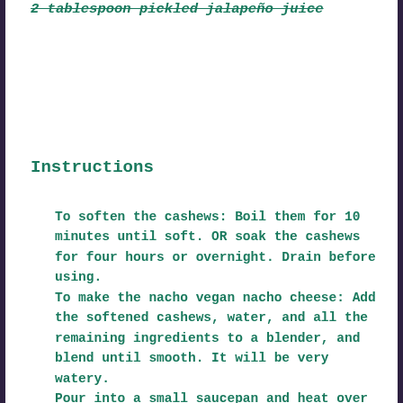2 tablespoon pickled jalapeño juice
Instructions
To soften the cashews: Boil them for 10 minutes until soft. OR soak the cashews for four hours or overnight. Drain before using.
To make the nacho vegan nacho cheese: Add the softened cashews, water, and all the remaining ingredients to a blender, and blend until smooth. It will be very watery.
Pour into a small saucepan and heat over medium-high heat, while stirring. If you don't have a high-powered blender, you may want to pour the liquid through a fine mesh strainer or cheesecloth into the pot, to remove any cashew bits that didn't grind up. This will ensure a smooth cheese texture. As you stir